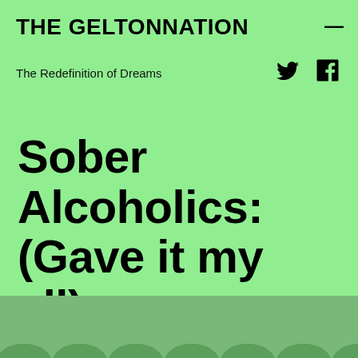THE GELTONNATION
The Redefinition of Dreams
Sober Alcoholics: (Gave it my all)
[Figure (photo): Row of white hard hats/helmets viewed from above, tinted green, visible at the bottom of the page]